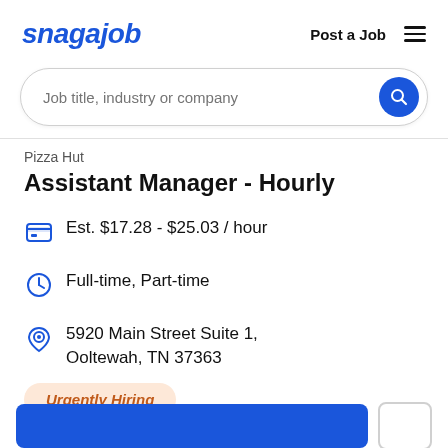snagajob | Post a Job
Job title, industry or company
Pizza Hut
Assistant Manager - Hourly
Est. $17.28 - $25.03 / hour
Full-time, Part-time
5920 Main Street Suite 1, Ooltewah, TN 37363
Urgently Hiring